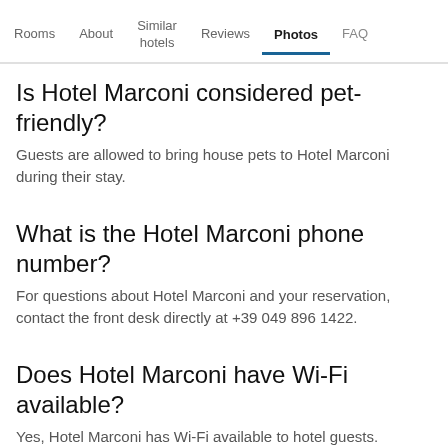Rooms | About | Similar hotels | Reviews | Photos | FAQ
Is Hotel Marconi considered pet-friendly?
Guests are allowed to bring house pets to Hotel Marconi during their stay.
What is the Hotel Marconi phone number?
For questions about Hotel Marconi and your reservation, contact the front desk directly at +39 049 896 1422.
Does Hotel Marconi have Wi-Fi available?
Yes, Hotel Marconi has Wi-Fi available to hotel guests.
What is the check-out time at Hotel Marconi?
The standard check-out time at Hotel Marconi is 11:00 AM. Guests